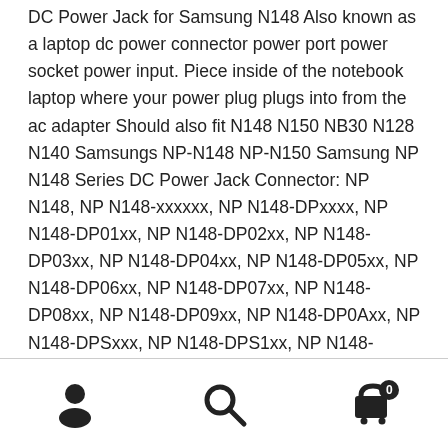DC Power Jack for Samsung N148 Also known as a laptop dc power connector power port power socket power input. Piece inside of the notebook laptop where your power plug plugs into from the ac adapter Should also fit N148 N150 NB30 N128 N140 Samsungs NP-N148 NP-N150 Samsung NP N148 Series DC Power Jack Connector: NP N148, NP N148-xxxxxx, NP N148-DPxxxx, NP N148-DP01xx, NP N148-DP02xx, NP N148-DP03xx, NP N148-DP04xx, NP N148-DP05xx, NP N148-DP06xx, NP N148-DP07xx, NP N148-DP08xx, NP N148-DP09xx, NP N148-DP0Axx, NP N148-DPSxxx, NP N148-DPS1xx, NP N148-JPxxxx, NP N148-JP02xx, NP N148-JP03xx Samsung NP N220 Series DC Power Jack Connector: NP N220, NP N220-xxxxx, NP N220-11, NP N220-HATxxx, NP N220-HAT2xx, NP N220-JAxxxx, NP N220-JA01xx, NP N220-JA02xx, NP N220-JA03xx, NP
[Figure (other): Bottom navigation bar with three icons: person/account icon on the left, search magnifying glass icon in the center, and shopping cart icon with badge showing '0' on the right]